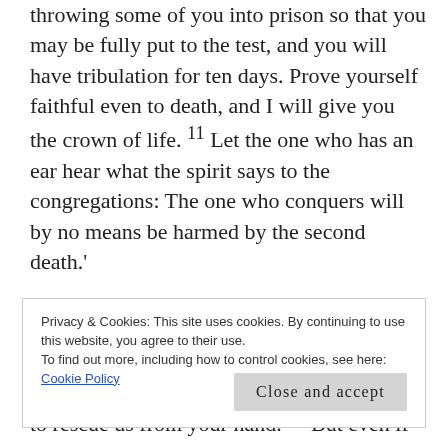throwing some of you into prison so that you may be fully put to the test, and you will have tribulation for ten days. Prove yourself faithful even to death, and I will give you the crown of life. 11 Let the one who has an ear hear what the spirit says to the congregations: The one who conquers will by no means be harmed by the second death.'
(Daniel 3:16-18) . . .. 17 If it must be, our God whom we serve is able to rescue us from the burning fiery furnace, O king, and to rescue us from your hand. 18 But even if he
Privacy & Cookies: This site uses cookies. By continuing to use this website, you agree to their use.
To find out more, including how to control cookies, see here: Cookie Policy
Close and accept